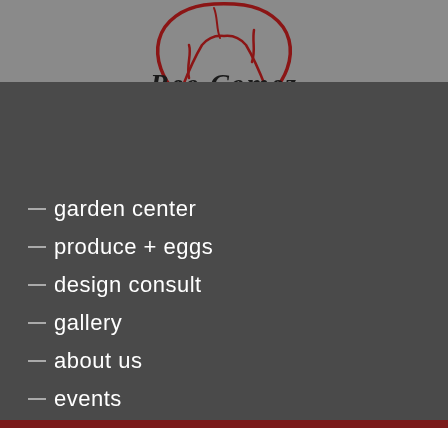[Figure (logo): Red outline drawing of rocks/stones logo for Red Comez garden center, drawn with curved red lines on gray background]
Red Comez
garden center
produce + eggs
design consult
gallery
about us
events
location
workshops
home